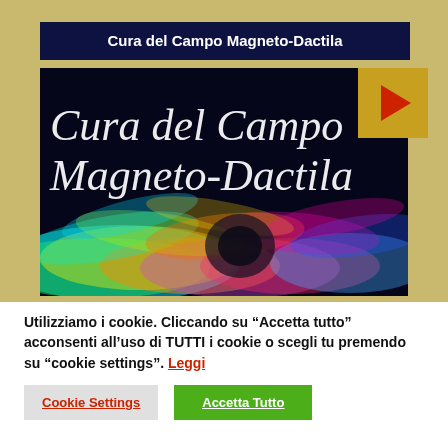Cura del Campo Magneto-Dactila
[Figure (screenshot): Video thumbnail showing colorful swirling wave patterns (rainbow magnetic field visualization) with white italic text 'Cura del Campo Magneto-Dactila' on a dark background, with a golden play button overlay on the right.]
Utilizziamo i cookie. Cliccando su “Accetta tutto” acconsenti all’uso di TUTTI i cookie o scegli tu premendo su “cookie settings”. Leggi
Cookie Settings
Accetta Tutto